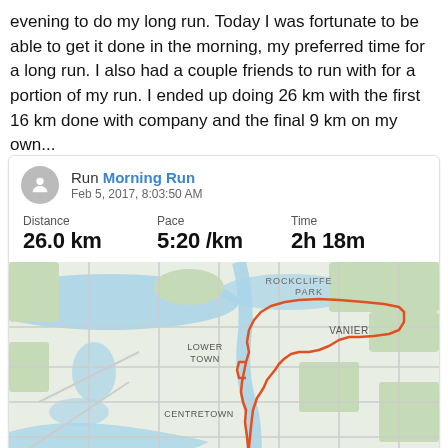evening to do my long run. Today I was fortunate to be able to get it done in the morning, my preferred time for a long run. I also had a couple friends to run with for a portion of my run. I ended up doing 26 km with the first 16 km done with company and the final 9 km on my own...
[Figure (screenshot): Strava activity card showing 'Run Morning Run' on Feb 5, 2017, 8:03:50 AM with Distance 26.0 km, Pace 5:20 /km, Time 2h 18m, and a map of an Ottawa running route traced in orange through Rockcliffe Park, Vanier, Lower Town, and Centretown neighbourhoods.]